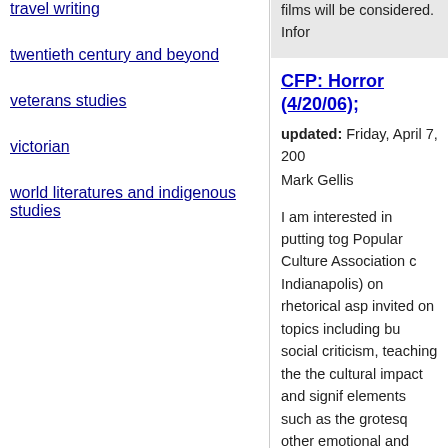travel writing
twentieth century and beyond
veterans studies
victorian
world literatures and indigenous studies
films will be considered. Infor
CFP: Horror (4/20/06)
updated: Friday, April 7, 200
Mark Gellis
I am interested in putting tog Popular Culture Association c Indianapolis) on rhetorical asp invited on topics including bu social criticism, teaching the the cultural impact and signif elements such as the grotesq other emotional and visceral the genre as a whole and on s films will be considered. Infor